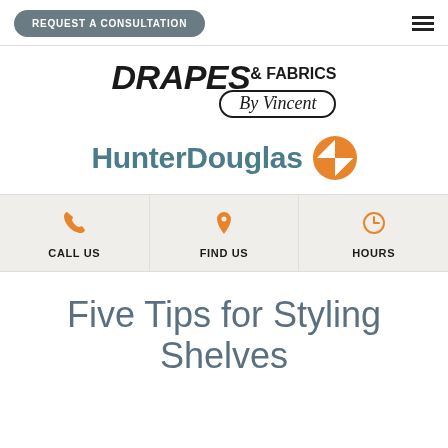REQUEST A CONSULTATION
[Figure (logo): Drapes & Fabrics By Vincent logo — bold italic DRAPES with & FABRICS text and By Vincent in an oval]
[Figure (logo): HunterDouglas logo with teal text and orange 4-pointed star icon]
CALL US | FIND US | HOURS
Five Tips for Styling Shelves